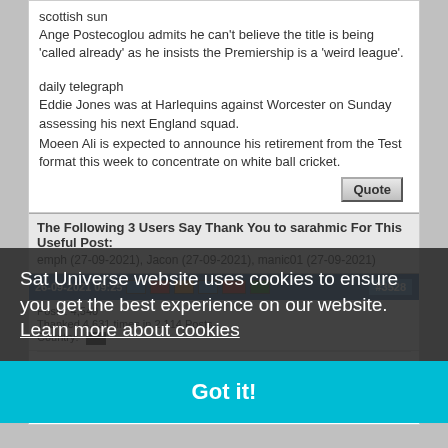scottish sun
Ange Postecoglou admits he can't believe the title is being 'called already' as he insists the Premiership is a 'weird league'.
daily telegraph
Eddie Jones was at Harlequins against Worcester on Sunday assessing his next England squad.
Moeen Ali is expected to announce his retirement from the Test format this week to concentrate on white ball cricket.
The Following 3 Users Say Thank You to sarahmic For This Useful Post:
emph (27-09-2021), Jacon (27-09-2021), manic01 (27-09-2021)
Sat Universe website uses cookies to ensure you get the best experience on our website.
Learn more about cookies
Got it!
Tuesday's Newspapers
28th September 2021